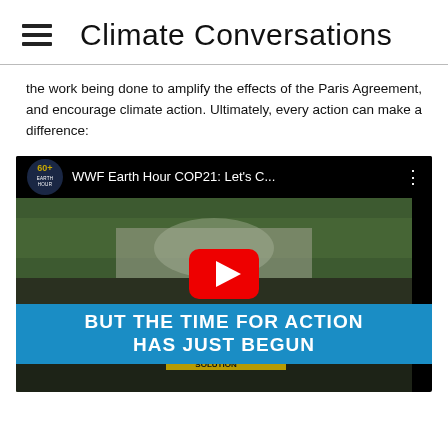Climate Conversations
the work being done to amplify the effects of the Paris Agreement, and encourage climate action. Ultimately, every action can make a difference:
[Figure (screenshot): Embedded YouTube video thumbnail showing WWF Earth Hour COP21 video titled 'WWF Earth Hour COP21: Let's C...' with a crowd/rally scene and blue banner reading 'BUT THE TIME FOR ACTION HAS JUST BEGUN' with a red YouTube play button overlay.]